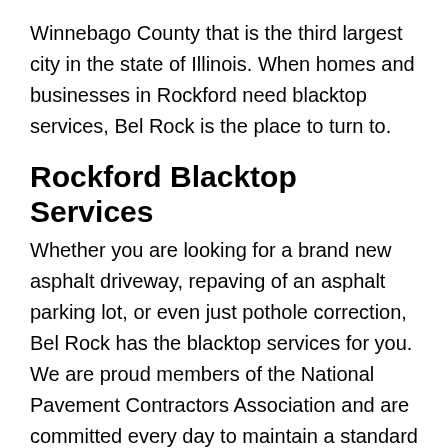Winnebago County that is the third largest city in the state of Illinois. When homes and businesses in Rockford need blacktop services, Bel Rock is the place to turn to.
Rockford Blacktop Services
Whether you are looking for a brand new asphalt driveway, repaving of an asphalt parking lot, or even just pothole correction, Bel Rock has the blacktop services for you. We are proud members of the National Pavement Contractors Association and are committed every day to maintain a standard of excellence that is consistent with their values. When you need a blacktop contractor that can do it all, make sure that Bel Rock